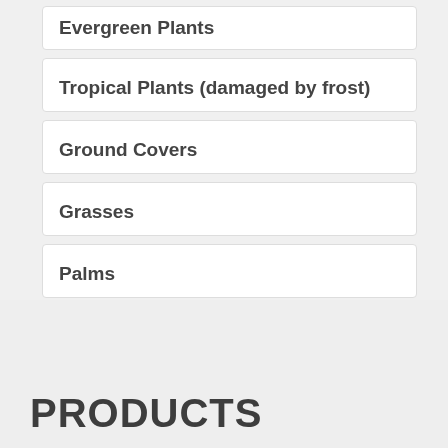Evergreen Plants
Tropical Plants (damaged by frost)
Ground Covers
Grasses
Palms
Trees And Shrubs
Annuals / Perennials
PRODUCTS